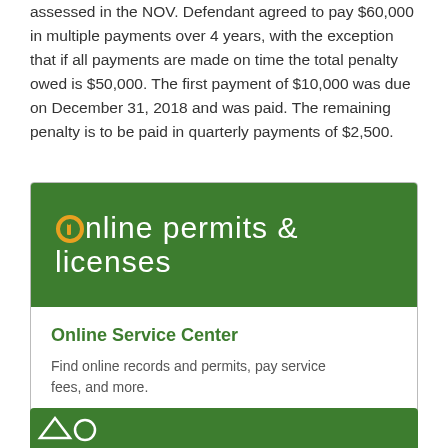assessed in the NOV. Defendant agreed to pay $60,000 in multiple payments over 4 years, with the exception that if all payments are made on time the total penalty owed is $50,000. The first payment of $10,000 was due on December 31, 2018 and was paid. The remaining penalty is to be paid in quarterly payments of $2,500.
[Figure (logo): Online Permits & Licenses logo on green background with orange and white lettering]
Online Service Center
Find online records and permits, pay service fees, and more.
[Figure (logo): Partial green banner with icon at bottom of page]